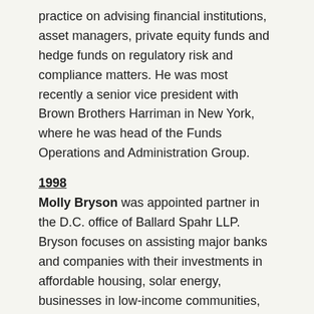practice on advising financial institutions, asset managers, private equity funds and hedge funds on regulatory risk and compliance matters. He was most recently a senior vice president with Brown Brothers Harriman in New York, where he was head of the Funds Operations and Administration Group.
1998
Molly Bryson was appointed partner in the D.C. office of Ballard Spahr LLP. Bryson focuses on assisting major banks and companies with their investments in affordable housing, solar energy, businesses in low-income communities, and historic preservation using tax credits and commercial and subsidized financing.